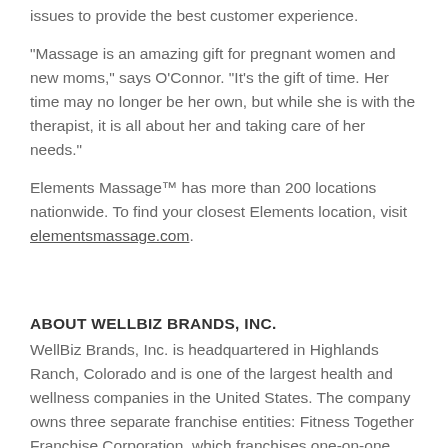issues to provide the best customer experience.
"Massage is an amazing gift for pregnant women and new moms," says O'Connor. "It's the gift of time. Her time may no longer be her own, but while she is with the therapist, it is all about her and taking care of her needs."
Elements Massage™ has more than 200 locations nationwide. To find your closest Elements location, visit elementsmassage.com.
ABOUT WELLBIZ BRANDS, INC.
WellBiz Brands, Inc. is headquartered in Highlands Ranch, Colorado and is one of the largest health and wellness companies in the United States. The company owns three separate franchise entities: Fitness Together Franchise Corporation, which franchises one-on-one and small group personal fitness training studios, Elements Therapeutic Massage, which franchises...